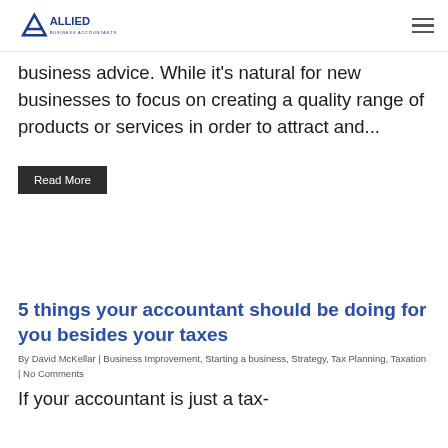Allied Business Accountants
business advice. While it's natural for new businesses to focus on creating a quality range of products or services in order to attract and...
Read More
5 things your accountant should be doing for you besides your taxes
By David McKellar | Business Improvement, Starting a business, Strategy, Tax Planning, Taxation | No Comments
If your accountant is just a tax-